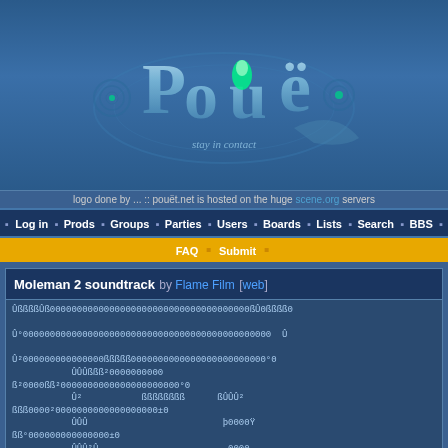[Figure (logo): Pouet.net logo with 3D metallic letters and green glowing figure, with 'stay in contact' tagline on blue background]
logo done by ... :: pouët.net is hosted on the huge scene.org servers
• Log in • Prods • Groups • Parties • Users • Boards • Lists • Search • BBS •
FAQ • Submit •
Moleman 2 soundtrack by Flame Film [web]
ASCII art / unicode character content display of soundtrack listing